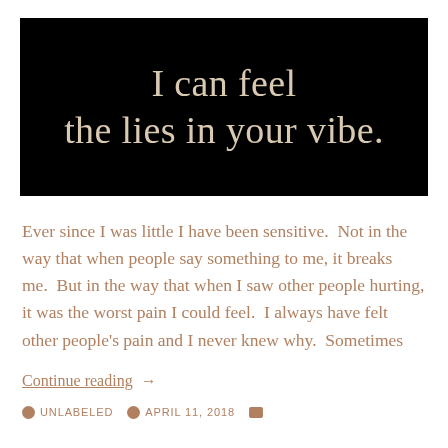[Figure (illustration): Black background image with tan/beige serif text reading 'I can feel the lies in your vibe.']
Ever since I was little I have been sensitive.  Not in the way that when people say something to me, it breaks me.  But in the way that when I saw other people hurting, it was the worst pain I could feel.  I always have felt other people's pain and I never knew why.  Sometimes
Continue reading  →
UNLABELED   APRIL 11, 2018